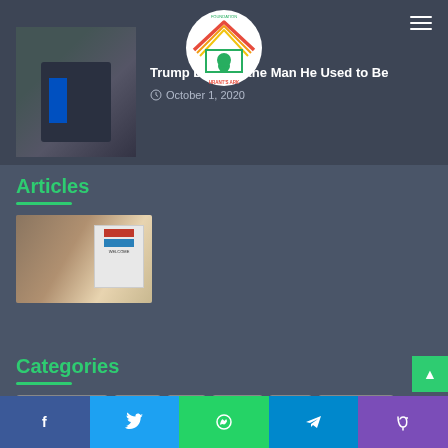[Figure (screenshot): Website header with navigation logo (Hrant's Ark Foundation) and hamburger menu]
Trump Debates the Man He Used to Be
October 1, 2020
Articles
[Figure (photo): Photo of a store or market interior with a welcome sign]
Categories
Animals News
Birds
Cat
Ferret
Fish
Guinea Pig